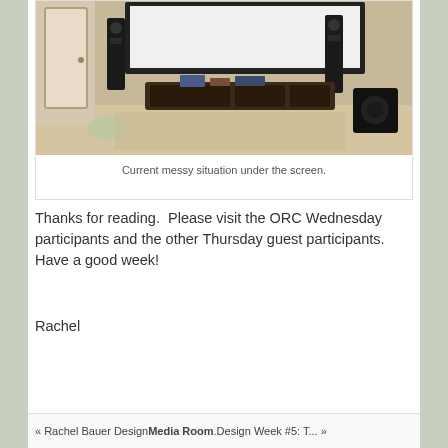[Figure (photo): Photo of a home theater room showing a large projection screen mounted on the wall, black speakers on either side, a dark media console/cabinet with equipment underneath the screen, and a patterned carpet/rug on the floor. A white door is visible on the left side.]
Current messy situation under the screen.
Thanks for reading.  Please visit the ORC Wednesday participants and the other Thursday guest participants.  Have a good week!
Rachel
« Rachel Bauer DesignMedia Room.Design Week #5: T... »